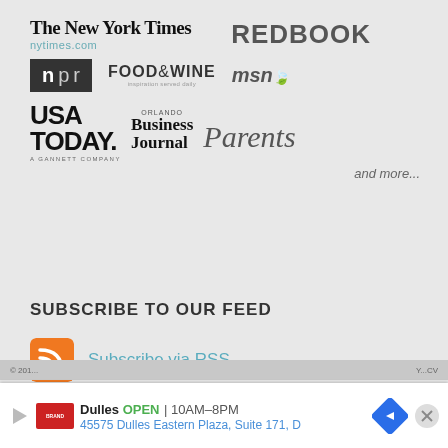[Figure (logo): Grid of media brand logos: The New York Times / nytimes.com, REDBOOK, NPR, FOOD&WINE, msn, USA TODAY, Orlando Business Journal, Parents]
and more...
SUBSCRIBE TO OUR FEED
Subscribe via RSS
Subscribe via email
Dulles  OPEN  10AM–8PM  45575 Dulles Eastern Plaza, Suite 171, D